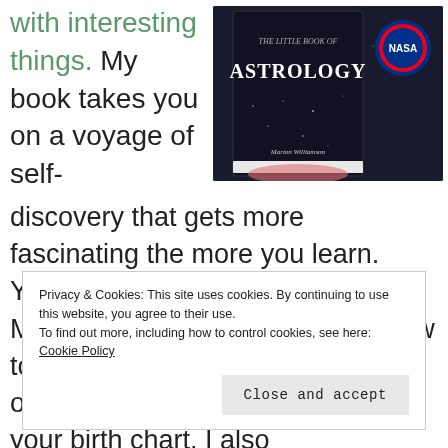with interesting things.  My book takes you on a voyage of self-discovery that gets more fascinating the more you learn. You'll discover Sun, Rising and Moon signs as well as learning how to interpret the symbolism of each of the other ten planets located in your birth chart. I also
[Figure (photo): Person holding a book titled 'ASTROLOGY' with a NASA badge visible in the background]
Privacy & Cookies: This site uses cookies. By continuing to use this website, you agree to their use.
To find out more, including how to control cookies, see here: Cookie Policy
Close and accept